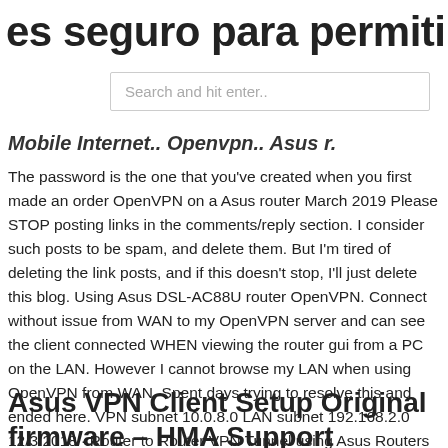es seguro para permitir el acceso co
Search and hit enter..
Mobile Internet.. Openvpn.. Asus r.
The password is the one that you've created when you first made an order OpenVPN on a Asus router March 2019 Please STOP posting links in the comments/reply section. I consider such posts to be spam, and delete them. But I'm tired of deleting the link posts, and if this doesn't stop, I'll just delete this blog. Using Asus DSL-AC88U router OpenVPN. Connect without issue from WAN to my OpenVPN server and can see the client connected WHEN viewing the router gui from a PC on the LAN. However I cannot browse my LAN when using OpenVPN from WAN. Spent days trying to resolve this and ended here. VPN subnet 10.0.8.0 LAN subnet 192.168.2.0 12/3/2018 · Router to Router VPN Tunnel using Asus Routers Over the past few years I've tried a few times to successfully configure a Router to Router VPN tunnel using Asus Routers.
Asus VPN Client Setup Original firmware – HMA Support